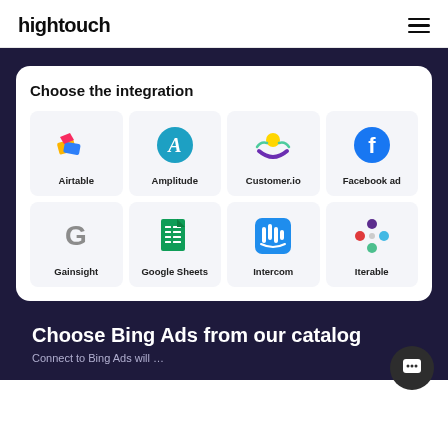hightouch
Choose the integration
[Figure (screenshot): Grid of integration icons: Airtable, Amplitude, Customer.io, Facebook ad, Gainsight, Google Sheets, Intercom, Iterable]
Choose Bing Ads from our catalog
Connect to Bing Ads will...